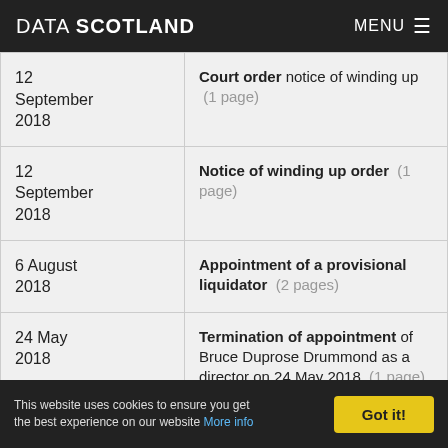DATA SCOTLAND  MENU
| Date | Document |
| --- | --- |
| 12 September 2018 | Court order notice of winding up (1 page) |
| 12 September 2018 | Notice of winding up order (1 page) |
| 6 August 2018 | Appointment of a provisional liquidator (2 pages) |
| 24 May 2018 | Termination of appointment of Bruce Duprose Drummond as a director on 24 May 2018 (1 page) |
This website uses cookies to ensure you get the best experience on our website More info  Got it!